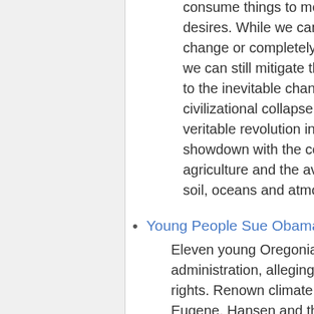consume things to meet human needs, w desires. While we can no longer reverse change or completely undo ecological d we can still mitigate the worst conseque to the inevitable changes and avoid who civilizational collapse. But doing so will r veritable revolution in the underlying pr showdown with the concentrated power agriculture and the aviation and automo soil, oceans and atmosphere and make
Young People Sue Obama Over Climate
Eleven young Oregonians are among th administration, alleging that the failure t rights. Renown climate change scientist Eugene. Hansen and the other plaintiffs changes aimed at reducing carbon emis
China's climate migrants
Forced relocations in China's arid Ningx
This Woman Has Spent The Last 14 Ye